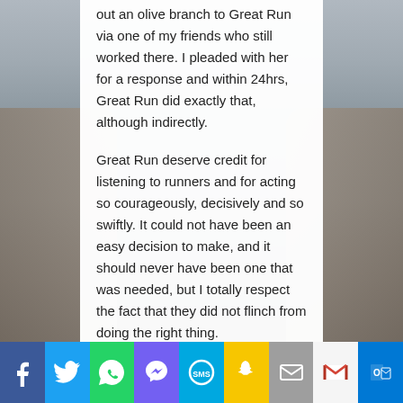out an olive branch to Great Run via one of my friends who still worked there. I pleaded with her for a response and within 24hrs, Great Run did exactly that, although indirectly.
Great Run deserve credit for listening to runners and for acting so courageously, decisively and so swiftly. It could not have been an easy decision to make, and it should never have been one that was needed, but I totally respect the fact that they did not flinch from doing the right thing.
One just has to Google Herbalife to see how toxic a brand they are. Sure, they have many...